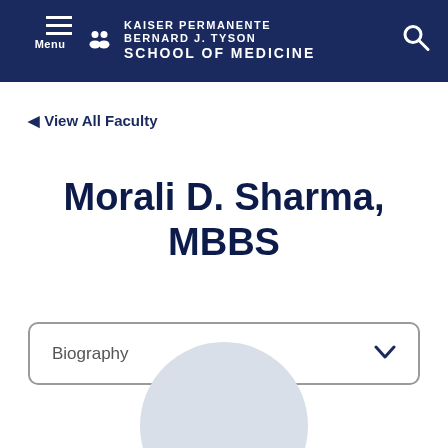Kaiser Permanente Bernard J. Tyson School of Medicine
◄ View All Faculty
Morali D. Sharma, MBBS
Biography